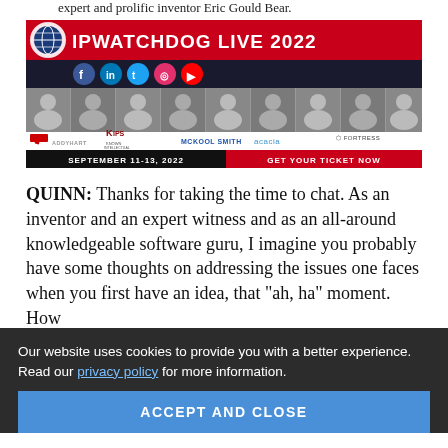expert and prolific inventor Eric Gould Bear.
[Figure (infographic): IPWatchdog LIVE 2022 advertisement banner featuring conference speakers, sponsors (AddyHart, KIPS, McKool Smith, Acacia, Fortress), dates September 11-13, 2022, and a GET YOUR TICKET NOW call to action.]
QUINN: Thanks for taking the time to chat. As an inventor and an expert witness and as an all-around knowledgeable software guru, I imagine you probably have some thoughts on addressing the issues one faces when you first have an idea, that "ah, ha" moment. How do you move the bumps to put what you have into ... t a lot of people in new businesses seem to really struggle
Our website uses cookies to provide you with a better experience. Read our privacy policy for more information.
ACCEPT AND CLOSE